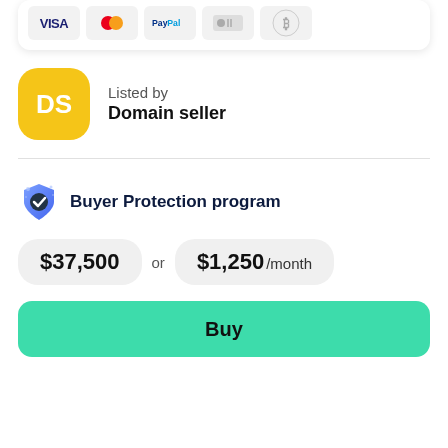[Figure (other): Payment method icons: Visa, Mastercard, PayPal, UnionPay/card, Bitcoin]
Listed by
Domain seller
Buyer Protection program
$37,500 or $1,250 /month
Buy